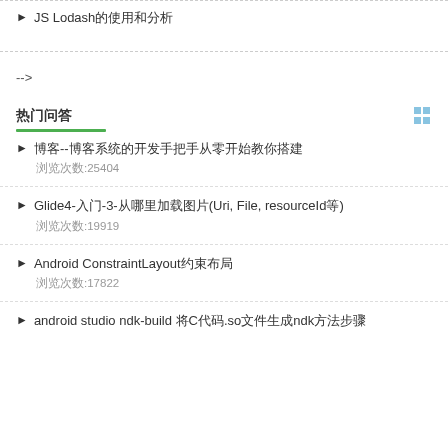JS Lodash的使用和分析
-->
热门问答
博客--博客系统的开发手把手从零开始教你搭建
浏览次数:25404
Glide4-入门-3-从哪里加载图片(Uri, File, resourceId等)
浏览次数:19919
Android ConstraintLayout约束布局
浏览次数:17822
android studio ndk-build 将C代码.so文件生成ndk方法步骤